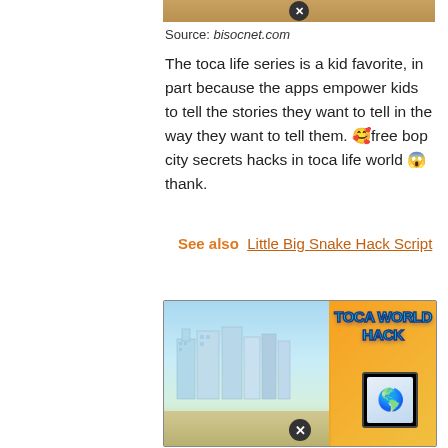[Figure (screenshot): Top portion of a game screenshot (partially visible at top of page), with a circular close/X button overlay at the bottom center.]
Source: bisocnet.com
The toca life series is a kid favorite, in part because the apps empower kids to tell the stories they want to tell in the way they want to tell them. 🥰free bop city secrets hacks in toca life world 😱  thank.
See also  Little Big Snake Hack Script
[Figure (screenshot): Toca World Hack promotional image showing a colorful game graphic with 'TOCA WORLD HACK' text and a cartoon character, displayed on a mobile phone screen. A circular close/X button is visible at the bottom.]